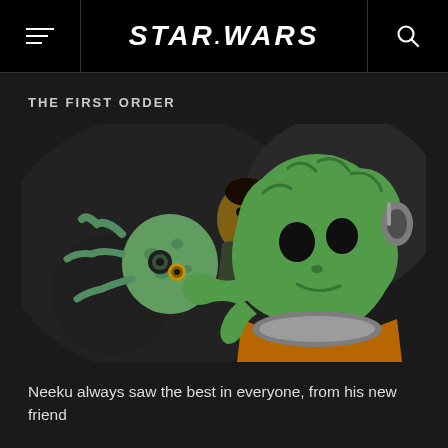STAR WARS
THE FIRST ORDER
[Figure (illustration): Animated scene from Star Wars Resistance showing a green alien character (Neeku) holding a small creature, with a human character visible behind him. The art style is animated/cartoon. The alien has large black eyes and is wearing an orange and grey suit.]
Neeku always saw the best in everyone, from his new friend